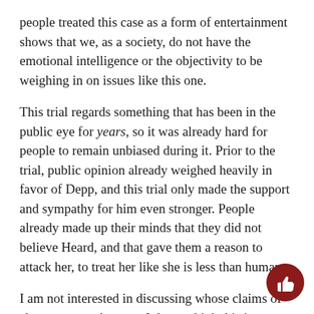people treated this case as a form of entertainment shows that we, as a society, do not have the emotional intelligence or the objectivity to be weighing in on issues like this one.
This trial regards something that has been in the public eye for years, so it was already hard for people to remain unbiased during it. Prior to the trial, public opinion already weighed heavily in favor of Depp, and this trial only made the support and sympathy for him even stronger. People already made up their minds that they did not believe Heard, and that gave them a reason to attack her, to treat her like she is less than human.
I am not interested in discussing whose claims of abuse are true, because I do not think this issue comes down to picking sides. I am more concerned with how quickly the general public chose sides, how much of